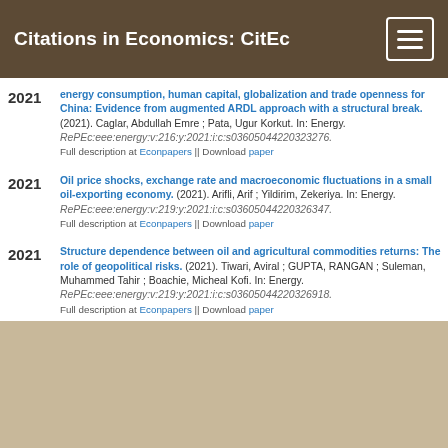Citations in Economics: CitEc
energy consumption, human capital, globalization and trade openness for China: Evidence from augmented ARDL approach with a structural break. (2021). Caglar, Abdullah Emre ; Pata, Ugur Korkut. In: Energy. RePEc:eee:energy:v:216:y:2021:i:c:s03605044220323276. Full description at Econpapers || Download paper
Oil price shocks, exchange rate and macroeconomic fluctuations in a small oil-exporting economy. (2021). Arifli, Arif ; Yildirim, Zekeriya. In: Energy. RePEc:eee:energy:v:219:y:2021:i:c:s03605044220326347. Full description at Econpapers || Download paper
Structure dependence between oil and agricultural commodities returns: The role of geopolitical risks. (2021). Tiwari, Aviral ; GUPTA, RANGAN ; Suleman, Muhammed Tahir ; Boachie, Micheal Kofi. In: Energy. RePEc:eee:energy:v:219:y:2021:i:c:s03605044220326918. Full description at Econpapers || Download paper